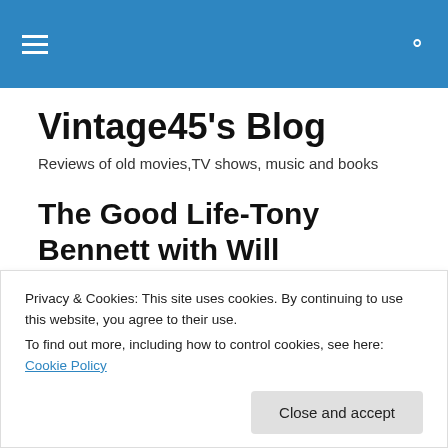Vintage45's Blog — navigation bar with hamburger menu and search icon
Vintage45's Blog
Reviews of old movies,TV shows, music and books
The Good Life-Tony Bennett with Will Friedwald (1998)
[Figure (photo): Book cover showing 'TONY BENNETT' in white letters on a dark background]
Privacy & Cookies: This site uses cookies. By continuing to use this website, you agree to their use.
To find out more, including how to control cookies, see here: Cookie Policy